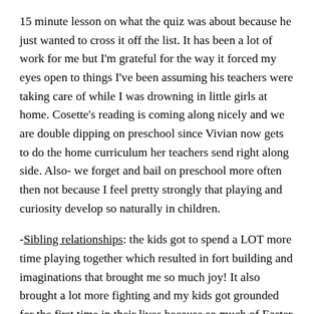15 minute lesson on what the quiz was about because he just wanted to cross it off the list. It has been a lot of work for me but I'm grateful for the way it forced my eyes open to things I've been assuming his teachers were taking care of while I was drowning in little girls at home. Cosette's reading is coming along nicely and we are double dipping on preschool since Vivian now gets to do the home curriculum her teachers send right along side. Also- we forget and bail on preschool more often then not because I feel pretty strongly that playing and curiosity develop so naturally in children.
-Sibling relationships: the kids got to spend a LOT more time playing together which resulted in fort building and imaginations that brought me so much joy! It also brought a lot more fighting and my kids got grounded for the first time in their lives because so much of Easter Sunday they spent yelling at each other and I just can't tolerate it. We went on many many family bike rides